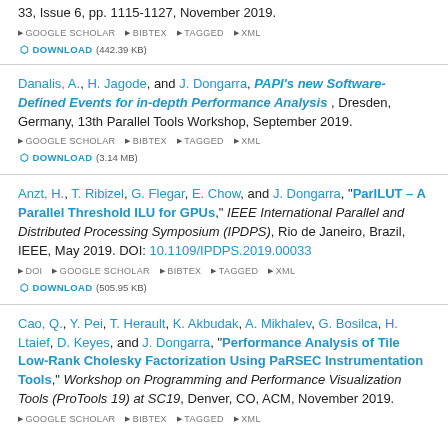33, Issue 6, pp. 1115-1127, November 2019. GOOGLE SCHOLAR BIBTEX TAGGED XML DOWNLOAD (442.39 KB)
Danalis, A., H. Jagode, and J. Dongarra, PAPI's new Software-Defined Events for in-depth Performance Analysis, Dresden, Germany, 13th Parallel Tools Workshop, September 2019. GOOGLE SCHOLAR BIBTEX TAGGED XML DOWNLOAD (3.14 MB)
Anzt, H., T. Ribizel, G. Flegar, E. Chow, and J. Dongarra, "ParILUT – A Parallel Threshold ILU for GPUs," IEEE International Parallel and Distributed Processing Symposium (IPDPS), Rio de Janeiro, Brazil, IEEE, May 2019. DOI: 10.1109/IPDPS.2019.00033 DOI GOOGLE SCHOLAR BIBTEX TAGGED XML DOWNLOAD (505.95 KB)
Cao, Q., Y. Pei, T. Herault, K. Akbudak, A. Mikhalev, G. Bosilca, H. Ltaief, D. Keyes, and J. Dongarra, "Performance Analysis of Tile Low-Rank Cholesky Factorization Using PaRSEC Instrumentation Tools," Workshop on Programming and Performance Visualization Tools (ProTools 19) at SC19, Denver, CO, ACM, November 2019. GOOGLE SCHOLAR BIBTEX TAGGED XML